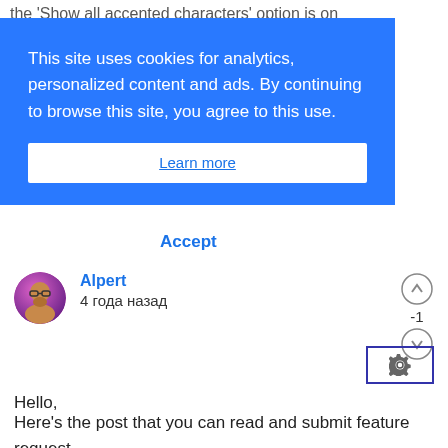the 'Show all accented characters' option is on
[Figure (screenshot): Blue cookie consent banner overlay with text: 'This site uses cookies for analytics, personalized content and ads. By continuing to browse this site, you agree to this use.' with a white Learn more button. Below the banner is an Accept button in blue text.]
Alpert
4 года назад
Hello,

Here's the post that you can read and submit feature request.

[here]